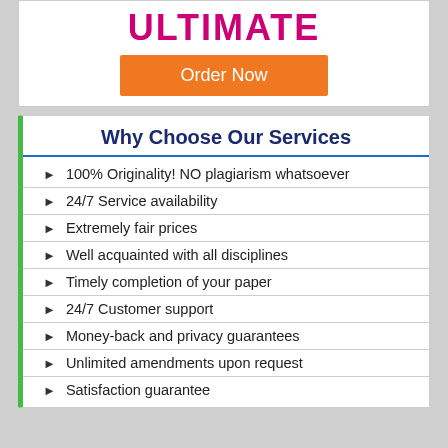ULTIMATE
Order Now
Why Choose Our Services
100% Originality! NO plagiarism whatsoever
24/7 Service availability
Extremely fair prices
Well acquainted with all disciplines
Timely completion of your paper
24/7 Customer support
Money-back and privacy guarantees
Unlimited amendments upon request
Satisfaction guarantee